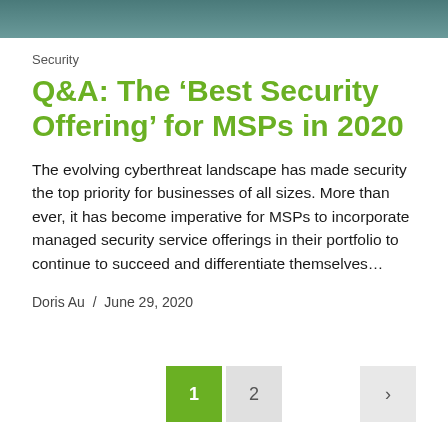[Figure (photo): Dark teal/green header hero image, partially visible at the top of the page]
Security
Q&A: The ‘Best Security Offering’ for MSPs in 2020
The evolving cyberthreat landscape has made security the top priority for businesses of all sizes. More than ever, it has become imperative for MSPs to incorporate managed security service offerings in their portfolio to continue to succeed and differentiate themselves…
Doris Au / June 29, 2020
1  2  >